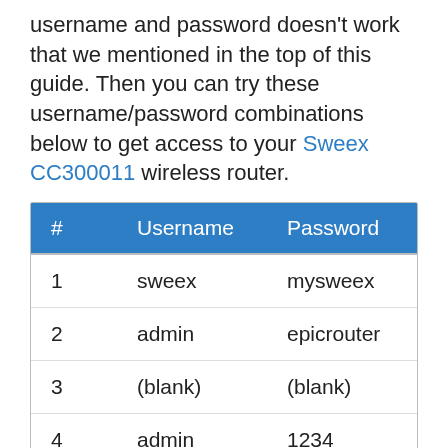username and password doesn't work that we mentioned in the top of this guide. Then you can try these username/password combinations below to get access to your Sweex CC300011 wireless router.
| # | Username | Password |
| --- | --- | --- |
| 1 | sweex | mysweex |
| 2 | admin | epicrouter |
| 3 | (blank) | (blank) |
| 4 | admin | 1234 |
| 5 | admin | admin |
Default login IPs for my Sweex